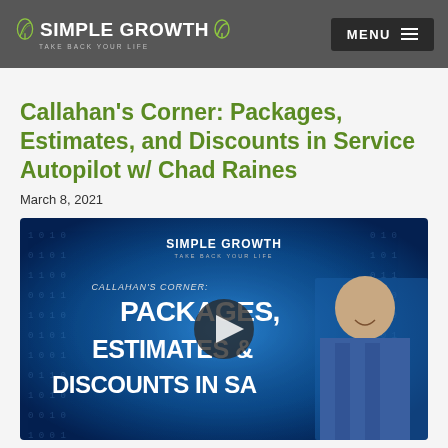SIMPLE GROWTH — TAKE BACK YOUR LIFE — MENU
Callahan's Corner: Packages, Estimates, and Discounts in Service Autopilot w/ Chad Raines
March 8, 2021
[Figure (screenshot): Video thumbnail showing 'CALLAHAN'S CORNER: PACKAGES, ESTIMATES & DISCOUNTS IN SA' with Simple Growth branding on a blue digital background, featuring a man in a plaid shirt and a play button overlay.]